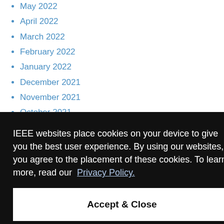May 2022
April 2022
March 2022
February 2022
January 2022
December 2021
November 2021
October 2021
September 2021
IEEE websites place cookies on your device to give you the best user experience. By using our websites, you agree to the placement of these cookies. To learn more, read our Privacy Policy.
Accept & Close
August 2020